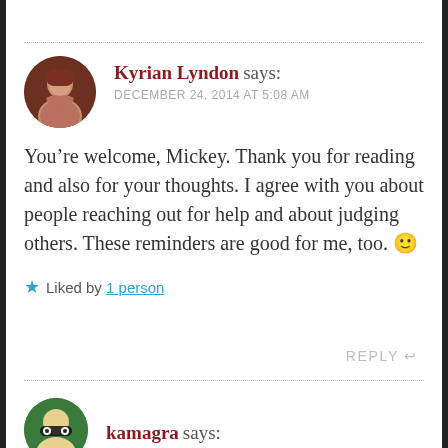Kyrian Lyndon says: DECEMBER 24, 2014 AT 5:08 AM
You’re welcome, Mickey. Thank you for reading and also for your thoughts. I agree with you about people reaching out for help and about judging others. These reminders are good for me, too. 🙂
★ Liked by 1 person
REPLY
kamagra says: